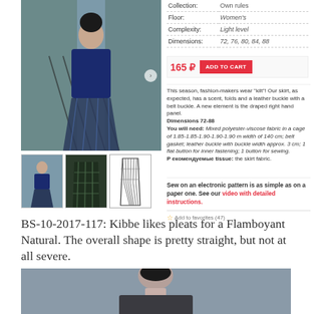[Figure (photo): Fashion photo of woman wearing navy sweater and plaid skirt on outdoor steps with iron railing]
[Figure (photo): Thumbnail 1: same fashion photo smaller]
[Figure (photo): Thumbnail 2: product photo of dark plaid skirt]
[Figure (illustration): Thumbnail 3: line drawing/sketch of skirt pattern piece]
| Collection: | Own rules |
| --- | --- |
| Floor: | Women's |
| Complexity: | Light level |
| Dimensions: | 72, 76, 80, 84, 88 |
165 ₽   ADD TO CART
This season, fashion-makers wear "kilt"! Our skirt, as expected, has a scent, folds and a leather buckle with a belt buckle. A new element is the draped right hand panel. Dimensions 72-88 You will need: Mixed polyester-viscose fabric in a cage of 1.85-1.85-1.90-1.90-1.90 m width of 140 cm; belt gasket; leather buckle with buckle width approx. 3 cm; 1 flat button for inner fastening; 1 button for sewing. Рекомендуемые tissue: the skirt fabric.
Sew on an electronic pattern is as simple as on a paper one. See our video with detailed instructions.
Add to favorites (47)
BS-10-2017-117: Kibbe likes pleats for a Flamboyant Natural. The overall shape is pretty straight, but not at all severe.
[Figure (photo): Bottom photo of woman with dark hair in grey outfit, grey background]